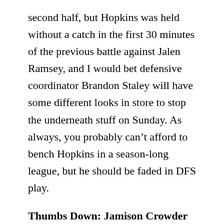second half, but Hopkins was held without a catch in the first 30 minutes of the previous battle against Jalen Ramsey, and I would bet defensive coordinator Brandon Staley will have some different looks in store to stop the underneath stuff on Sunday. As always, you probably can't afford to bench Hopkins in a season-long league, but he should be faded in DFS play.
Thumbs Down: Jamison Crowder (@ NE)
Crowder did it all last week in New York's upset win over the Browns, but that makes it all the more likely that Bill Belichick and the